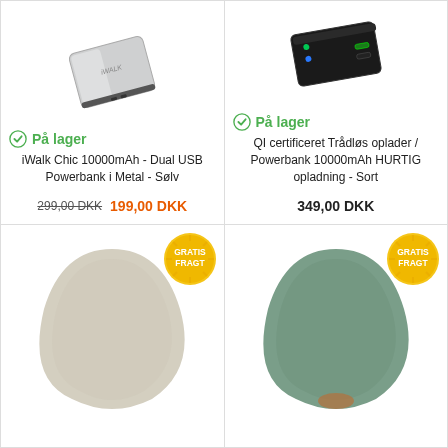[Figure (photo): iWalk Chic silver metallic slim powerbank viewed from angle]
På lager
iWalk Chic 10000mAh - Dual USB Powerbank i Metal - Sølv
299,00 DKK  199,00 DKK
[Figure (photo): Black QI certified wireless charger powerbank with USB ports visible]
På lager
QI certificeret Trådløs oplader / Powerbank 10000mAh HURTIG opladning - Sort
349,00 DKK
[Figure (photo): Beige/cream rounded pebble-shaped powerbank with GRATIS FRAGT badge]
[Figure (photo): Green rounded pebble-shaped powerbank with GRATIS FRAGT badge]